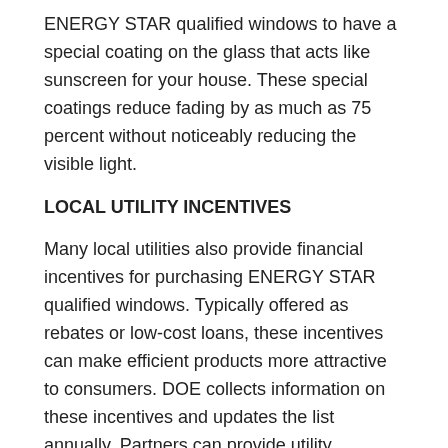ENERGY STAR qualified windows to have a special coating on the glass that acts like sunscreen for your house. These special coatings reduce fading by as much as 75 percent without noticeably reducing the visible light.
LOCAL UTILITY INCENTIVES
Many local utilities also provide financial incentives for purchasing ENERGY STAR qualified windows. Typically offered as rebates or low-cost loans, these incentives can make efficient products more attractive to consumers. DOE collects information on these incentives and updates the list annually. Partners can provide utility incentive information directly to their customers or direct customers to the Rebate.
In most climate zones, these products are also ENERGY STAR qualified. To make it easy to recognize